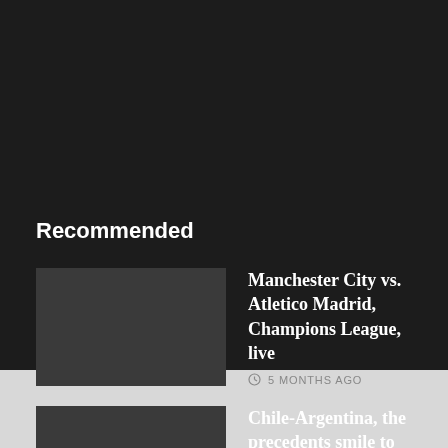Recommended
Manchester City vs. Atletico Madrid, Champions League, live
5 MONTHS AGO
Chile-Argentina, the precedents smile to the Albiceleste: 39 wins against Roja